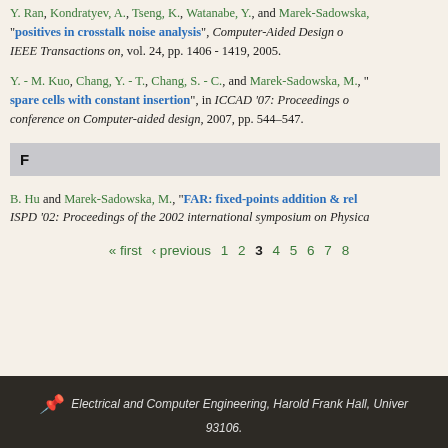Y. Ran, Kondratyev, A., Tseng, K., Watanabe, Y., and Marek-Sadowska, "positives in crosstalk noise analysis", Computer-Aided Design o, IEEE Transactions on, vol. 24, pp. 1406 - 1419, 2005.
Y. - M. Kuo, Chang, Y. - T., Chang, S. - C., and Marek-Sadowska, M., "spare cells with constant insertion", in ICCAD '07: Proceedings o conference on Computer-aided design, 2007, pp. 544–547.
F
B. Hu and Marek-Sadowska, M., "FAR: fixed-points addition & rel ISPD '02: Proceedings of the 2002 international symposium on Physica
« first  ‹ previous  1  2  3  4  5  6  7  8
Electrical and Computer Engineering, Harold Frank Hall, Univer 93106.